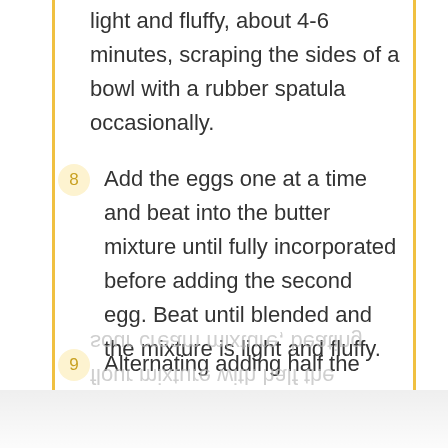light and fluffy, about 4-6 minutes, scraping the sides of a bowl with a rubber spatula occasionally.
8 Add the eggs one at a time and beat into the butter mixture until fully incorporated before adding the second egg. Beat until blended and the mixture is light and fluffy.
9 Alternating adding half the flour mixture with half the sour cream mixture, beating